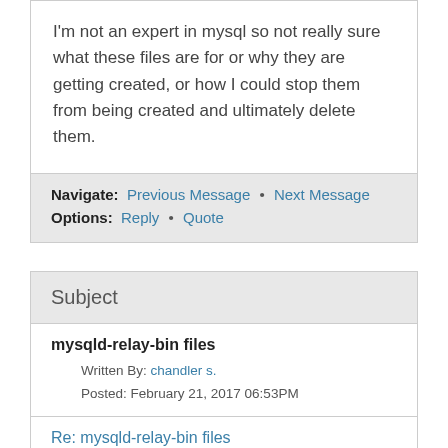I'm not an expert in mysql so not really sure what these files are for or why they are getting created, or how I could stop them from being created and ultimately delete them.
Navigate: Previous Message • Next Message
Options: Reply • Quote
Subject
mysqld-relay-bin files
Written By: chandler s.
Posted: February 21, 2017 06:53PM
Re: mysqld-relay-bin files
Written By: Alexander Javoronkov
Posted: March 10, 2017 08:05AM
Re: mysqld-relay-bin files